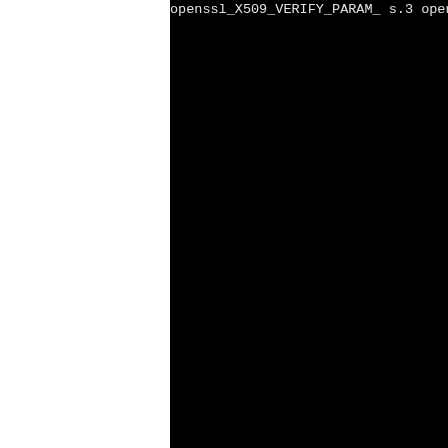openssl_X509_VERIFY_PARAM_
s.3
openssl_X509_VERIFY_PARAM_
lags.3
openssl_X509_VERIFY_PARAM_
lags.3
openssl_X509_VERIFY_PARAM_
s.3
openssl_X509_VERIFY_PARAM_
openssl_X509_VERIFY_PARAM_
gs.3
installing man3/openssl_X5
openssl_X509_check_email.3
openssl_X509_check_ip.3 =>
openssl_X509_check_ip_asc
installing man3/openssl_X5
openssl_X509_free.3 => ope
installing man3/openssl_X5
installing man3/openssl_bi
installing man3/openssl_bi
openssl_BF_set_key.3 => op
openssl_BF_encrypt.3 => op
openssl_BF_decrypt.3 => op
openssl_BF_ecb_encrypt.3